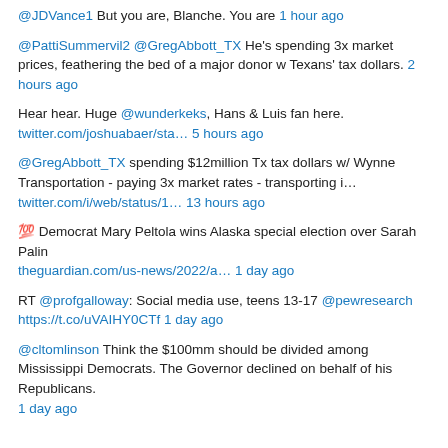@JDVance1 But you are, Blanche. You are 1 hour ago
@PattiSummervil2 @GregAbbott_TX He's spending 3x market prices, feathering the bed of a major donor w Texans' tax dollars. 2 hours ago
Hear hear. Huge @wunderkeks, Hans & Luis fan here. twitter.com/joshuabaer/sta… 5 hours ago
@GregAbbott_TX spending $12million Tx tax dollars w/ Wynne Transportation - paying 3x market rates - transporting i… twitter.com/i/web/status/1… 13 hours ago
💯 Democrat Mary Peltola wins Alaska special election over Sarah Palin theguardian.com/us-news/2022/a… 1 day ago
RT @profgalloway: Social media use, teens 13-17 @pewresearch https://t.co/uVAIHY0CTf 1 day ago
@cltomlinson Think the $100mm should be divided among Mississippi Democrats. The Governor declined on behalf of his Republicans. 1 day ago